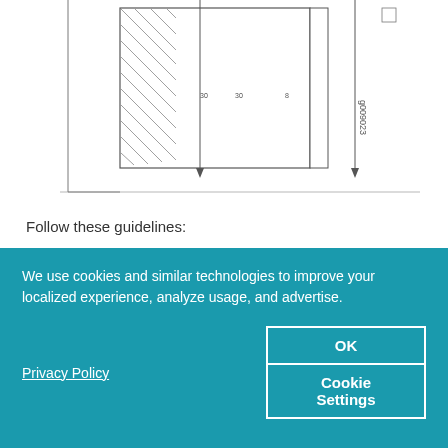[Figure (engineering-diagram): Technical/engineering line drawing showing a chassis or rack unit with diagonal hatching patterns, arrows indicating dimensions, and a figure reference number g009023 rotated vertically on the right side.]
Follow these guidelines:
For the cooling system to function properly, the airflow around the chassis must be unrestricted. See Optical ILA Cooling System Description for more information about
We use cookies and similar technologies to improve your localized experience, analyze usage, and advertise.
Privacy Policy
OK
Cookie Settings